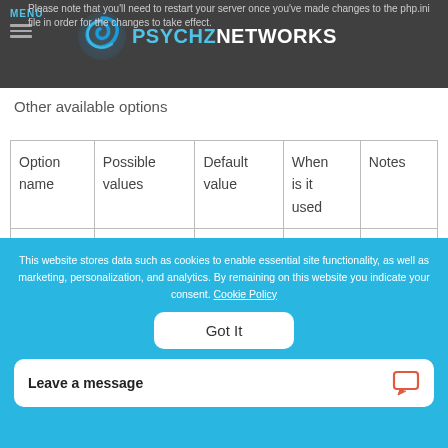PSYCHZ NETWORKS
Please note that you'll need to restart your server once you've made changes to the php.ini file in order for the changes to take effect.
Other available options
| Option name | Possible values | Default value | When is it used | Notes |
| --- | --- | --- | --- | --- |
This website stores data such as cookies to enable essential site functionality, as well as marketing, personalization, and analytics. By remaining on this website you indicate your consent. Cookie Policy
Got It
Leave a message